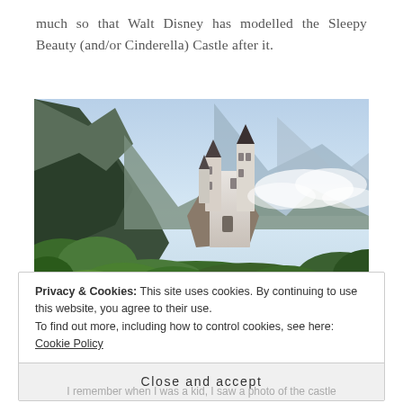much so that Walt Disney has modelled the Sleepy Beauty (and/or Cinderella) Castle after it.
[Figure (photo): Photograph of Neuschwanstein Castle perched on a forested hillside with dramatic mountain peaks and clouds in the background.]
Privacy & Cookies: This site uses cookies. By continuing to use this website, you agree to their use.
To find out more, including how to control cookies, see here: Cookie Policy
Close and accept
I remember when I was a kid, I saw a photo of the castle